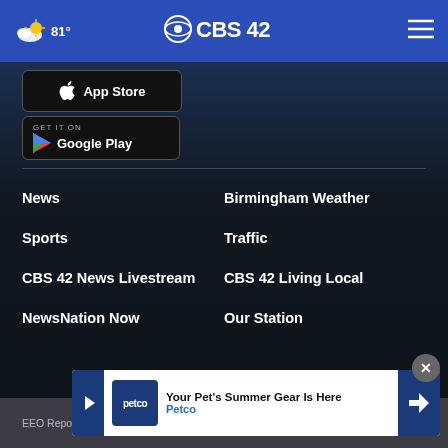81° CBS 42
[Figure (screenshot): App Store download button (Apple)]
[Figure (screenshot): Google Play download button]
News
Birmingham Weather
Sports
Traffic
CBS 42 News Livestream
CBS 42 Living Local
NewsNation Now
Our Station
[Figure (screenshot): Petco advertisement banner: Your Pet's Summer Gear Is Here - Petco]
EEO Report  FCC Public File